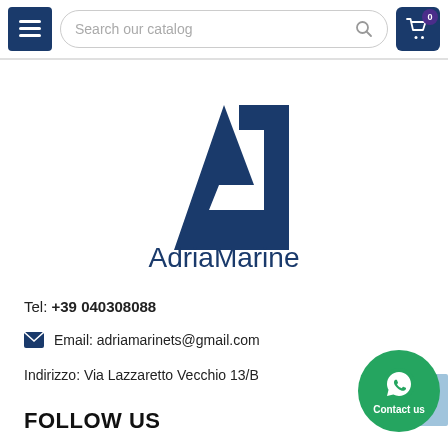Search our catalog — navigation header with menu and cart
[Figure (logo): AdriaMarine logo: blue stylized A1 lettermark above the text 'AdriaMarine' in dark blue]
Tel: +39 040308088
Email: adriamarinets@gmail.com
Indirizzo: Via Lazzaretto Vecchio 13/B
FOLLOW US
[Figure (illustration): Green circular WhatsApp Contact us button with WhatsApp icon]